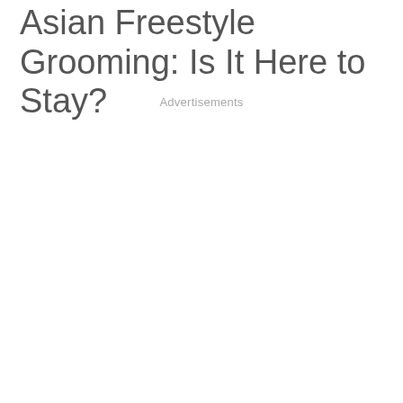Asian Freestyle Grooming: Is It Here to Stay?
Advertisements